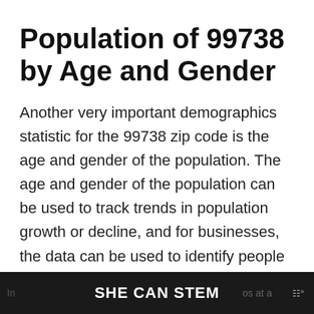Population of 99738 by Age and Gender
Another very important demographics statistic for the 99738 zip code is the age and gender of the population. The age and gender of the population can be used to track trends in population growth or decline, and for businesses, the data can be used to identify people important to you and your business need.
In... SHE CAN STEM os at a